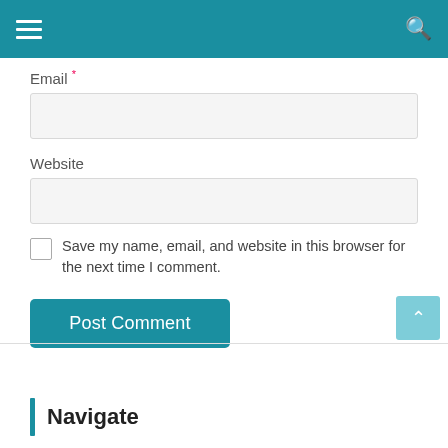Navigation bar with hamburger menu and search icon
Email *
[Figure (screenshot): Email input text field, light gray background]
Website
[Figure (screenshot): Website input text field, light gray background]
Save my name, email, and website in this browser for the next time I comment.
Post Comment
Navigate